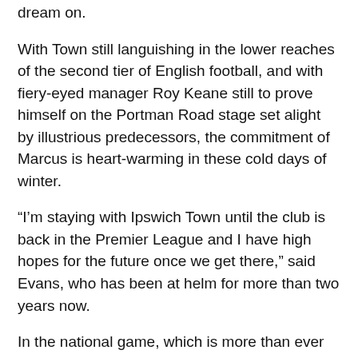dream on.
With Town still languishing in the lower reaches of the second tier of English football, and with fiery-eyed manager Roy Keane still to prove himself on the Portman Road stage set alight by illustrious predecessors, the commitment of Marcus is heart-warming in these cold days of winter.
“I’m staying with Ipswich Town until the club is back in the Premier League and I have high hopes for the future once we get there,” said Evans, who has been at helm for more than two years now.
In the national game, which is more than ever built on instant success, the man who employs thousands of people in 72 countries is showing remarkable patience and calm as his club looks to push up the Championship table after its worst-ever start to a season.